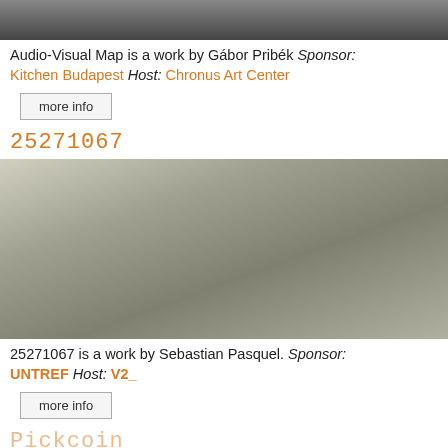[Figure (photo): Partial top image showing a dark room with a laptop and monitor, partially visible]
Audio-Visual Map is a work by Gábor Pribék Sponsor: Kitchen Budapest Host: Chronus Art Center
more info
25271067
[Figure (photo): Close-up photo of a coiled/rolled fabric or rope-like material, grey and white tones, on a reflective surface with metal structures visible]
25271067 is a work by Sebastian Pasquel. Sponsor: UNTREF Host: V2_
more info
Pickcoin
[Figure (photo): Partial bottom image showing an outdoor scene with people, partially cut off]